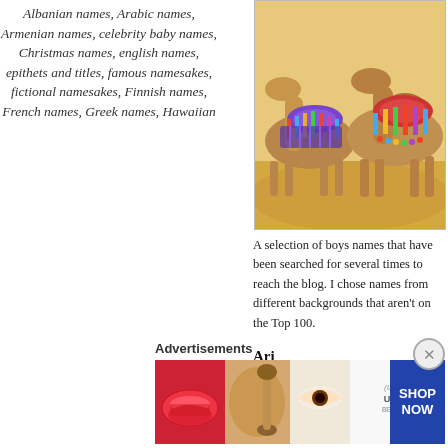Albanian names, Arabic names, Armenian names, celebrity baby names, Christmas names, english names, epithets and titles, famous namesakes, fictional namesakes, Finnish names, French names, Greek names, Hawaiian
[Figure (illustration): Colorful illustration of decorated camels with ornate saddles and blankets in desert setting]
A selection of boys names that have been searched for several times to reach the blog. I chose names from different backgrounds that aren't on the Top 100.
Ari
This little name has several origins. It is a Hebrew name meaning “lion”, an Armenian name meaning “brave”, a Scandinavian name from Old Norse, meaning “eagle”, an Albanian name meaning “bear”
Advertisements
[Figure (photo): Advertisement banner featuring makeup and beauty products, ULTA beauty logo, and SHOP NOW call to action]